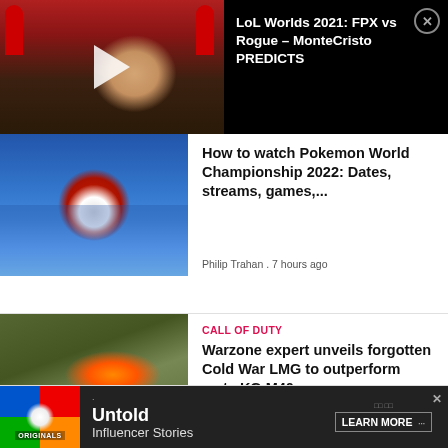[Figure (screenshot): Video thumbnail of a person wearing red headphones with a play button overlay, on dark background]
LoL Worlds 2021: FPX vs Rogue – MonteCristo PREDICTS
[Figure (photo): Pokemon World Championships logo with Pokeball design and Tower Bridge background]
How to watch Pokemon World Championship 2022: Dates, streams, games,...
Philip Trahan . 7 hours ago
CALL OF DUTY
[Figure (photo): Screenshot of a Warzone player firing a large weapon with explosion effect]
Warzone expert unveils forgotten Cold War LMG to outperform meta KG M40 ...
Joe Craven . 8 hours ago
[Figure (screenshot): Advertisement banner for Originals: Untold Influencer Stories with LEARN MORE call to action]